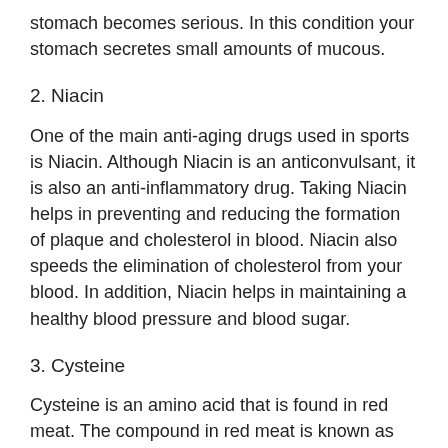stomach becomes serious. In this condition your stomach secretes small amounts of mucous.
2. Niacin
One of the main anti-aging drugs used in sports is Niacin. Although Niacin is an anticonvulsant, it is also an anti-inflammatory drug. Taking Niacin helps in preventing and reducing the formation of plaque and cholesterol in blood. Niacin also speeds the elimination of cholesterol from your blood. In addition, Niacin helps in maintaining a healthy blood pressure and blood sugar.
3. Cysteine
Cysteine is an amino acid that is found in red meat. The compound in red meat is known as cysteine. Cysteine is important in the